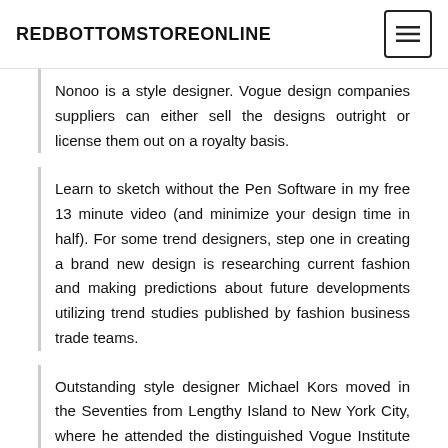REDBOTTOMSTOREONLINE
Nonoo is a style designer. Vogue design companies suppliers can either sell the designs outright or license them out on a royalty basis.
Learn to sketch without the Pen Software in my free 13 minute video (and minimize your design time in half). For some trend designers, step one in creating a brand new design is researching current fashion and making predictions about future developments utilizing trend studies published by fashion business trade teams.
Outstanding style designer Michael Kors moved in the Seventies from Lengthy Island to New York City, where he attended the distinguished Vogue Institute of...